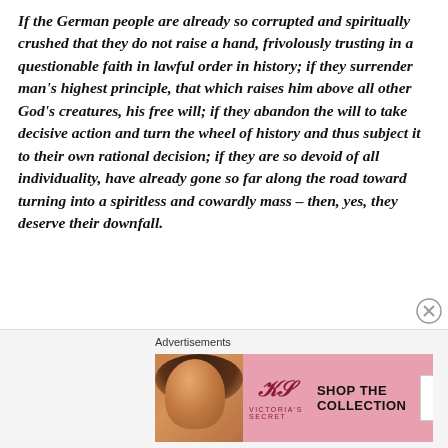If the German people are already so corrupted and spiritually crushed that they do not raise a hand, frivolously trusting in a questionable faith in lawful order in history; if they surrender man's highest principle, that which raises him above all other God's creatures, his free will; if they abandon the will to take decisive action and turn the wheel of history and thus subject it to their own rational decision; if they are so devoid of all individuality, have already gone so far along the road toward turning into a spiritless and cowardly mass – then, yes, they deserve their downfall.
[Figure (other): Victoria's Secret advertisement banner with model and 'SHOP THE COLLECTION / SHOP NOW' call to action]